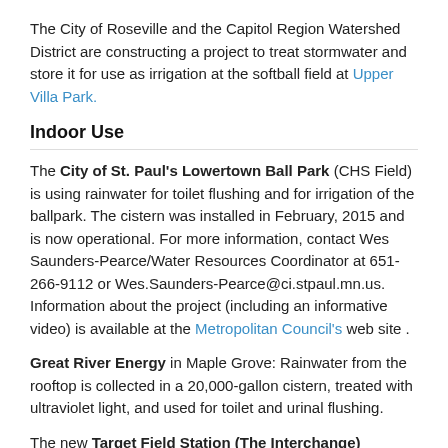The City of Roseville and the Capitol Region Watershed District are constructing a project to treat stormwater and store it for use as irrigation at the softball field at Upper Villa Park.
Indoor Use
The City of St. Paul's Lowertown Ball Park (CHS Field) is using rainwater for toilet flushing and for irrigation of the ballpark. The cistern was installed in February, 2015 and is now operational. For more information, contact Wes Saunders-Pearce/Water Resources Coordinator at 651- 266-9112 or Wes.Saunders-Pearce@ci.stpaul.mn.us. Information about the project (including an informative video) is available at the Metropolitan Council's web site .
Great River Energy in Maple Grove: Rainwater from the rooftop is collected in a 20,000-gallon cistern, treated with ultraviolet light, and used for toilet and urinal flushing.
The new Target Field Station (The Interchange) features the first-ever, year-round snowmelt and stormwater runoff capture and reuse system in Minnesota. Snowmelt or stormwater is